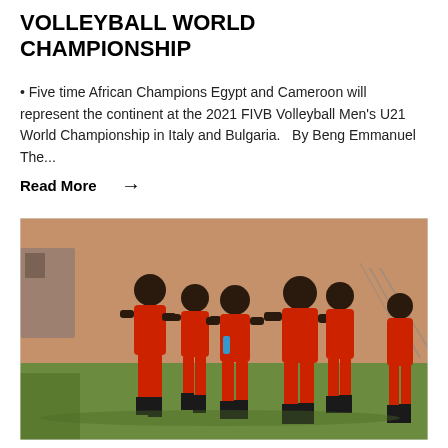VOLLEYBALL WORLD CHAMPIONSHIP
• Five time African Champions Egypt and Cameroon will represent the continent at the 2021 FIVB Volleyball Men's U21 World Championship in Italy and Bulgaria.   By Beng Emmanuel The...
Read More →
[Figure (photo): Young African football players in red uniforms jogging/running on a grass field during training, with a brick wall in the background.]